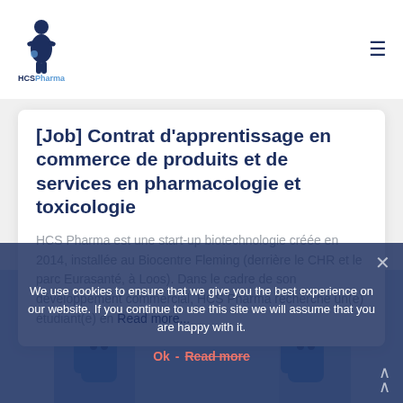HCSPharma
[Job] Contrat d'apprentissage en commerce de produits et de services en pharmacologie et toxicologie
HCS Pharma est une start-up biotechnologie créée en 2014, installée au Biocentre Fleming (derrière le CHR et le parc Eurasanté, à Loos). Dans le cadre de son développement commercial, HCS Pharma recherche un(e) étudiant(e) en Read more...
[Figure (illustration): Cartoon illustration of people at a pharmaceutical/biotech setting, partially visible at bottom of page]
We use cookies to ensure that we give you the best experience on our website. If you continue to use this site we will assume that you are happy with it.
Ok  Read more